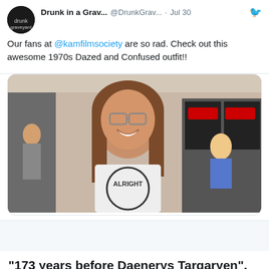Drunk in a Grav... @DrunkGrav... · Jul 30
Our fans at @kamfilmsociety are so rad. Check out this awesome 1970s Dazed and Confused outfit!!
[Figure (photo): A smiling woman with glasses and long brown hair wearing a white t-shirt with a circular graphic, standing in what appears to be a lobby or concession area]
"173 years before Daenerys Targaryen".
[Figure (photo): A man pointing his finger, appears to be from a movie scene, with a Game of Thrones sigil visible in the top left corner]